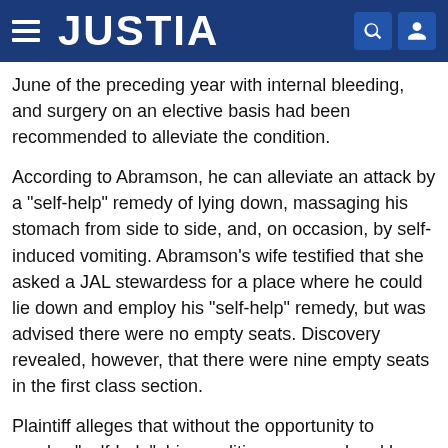JUSTIA
June of the preceding year with internal bleeding, and surgery on an elective basis had been recommended to alleviate the condition.
According to Abramson, he can alleviate an attack by a "self-help" remedy of lying down, massaging his stomach from side to side, and, on occasion, by self-induced vomiting. Abramson's wife testified that she asked a JAL stewardess for a place where he could lie down and employ his "self-help" remedy, but was advised there were no empty seats. Discovery revealed, however, that there were nine empty seats in the first class section.
Plaintiff alleges that without the opportunity to employ "self-help", his condition worsened and he was hospitalized upon arriving in Tokyo. Subsequently, he contracted pneumonia and, on the advice of a Japanese